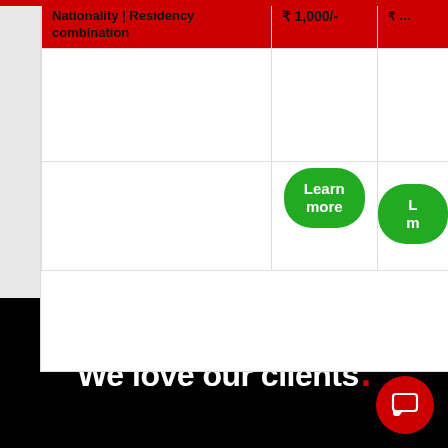| Nationality | Residency combination | ₹ 1,000/- | ₹ … |
| --- | --- | --- |
|  | Learn more | L… |
We love our clients.